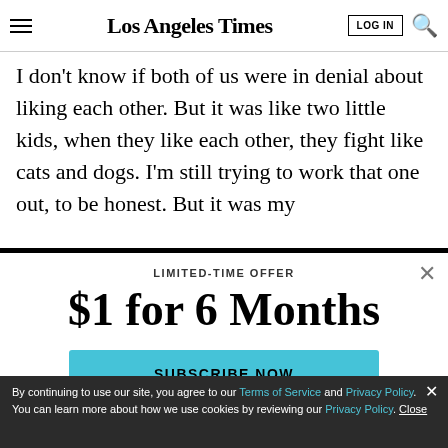Los Angeles Times — LOG IN [search icon]
I don't know if both of us were in denial about liking each other. But it was like two little kids, when they like each other, they fight like cats and dogs. I'm still trying to work that one out, to be honest. But it was my
LIMITED-TIME OFFER
$1 for 6 Months
SUBSCRIBE NOW
By continuing to use our site, you agree to our Terms of Service and Privacy Policy. You can learn more about how we use cookies by reviewing our Privacy Policy. Close